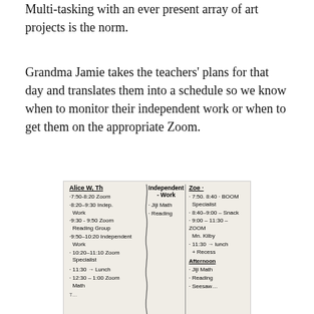Multi-tasking with an ever present array of art projects is the norm.
Grandma Jamie takes the teachers' plans for that day and translates them into a schedule so we know when to monitor their independent work or when to get them on the appropriate Zoom.
[Figure (photo): Handwritten schedule on paper with two columns: Alice W, Th (with times for Zoom, independent work, reading group, specialist, lunch, math) and Zoe (with times for Boom Specialist, snack, Zoom Mr. Kilby, lunch, recess, and afternoon items). Middle column lists Independent Work items: Jiji Math, Reading.]